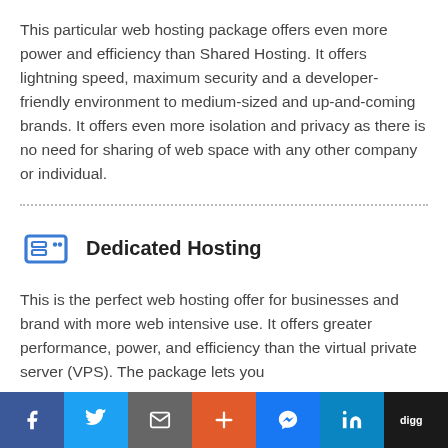This particular web hosting package offers even more power and efficiency than Shared Hosting. It offers lightning speed, maximum security and a developer- friendly environment to medium-sized and up-and-coming brands. It offers even more isolation and privacy as there is no need for sharing of web space with any other company or individual.
Dedicated Hosting
This is the perfect web hosting offer for businesses and brand with more web intensive use. It offers greater performance, power, and efficiency than the virtual private server (VPS). The package lets you
[Figure (infographic): Social sharing bar with Facebook, Twitter, Email, Plus, Messenger, LinkedIn, and Digg buttons]